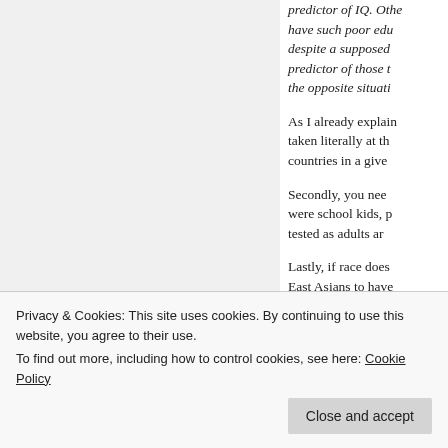predictor of IQ. Other... have such poor edu... despite a supposed... predictor of those th... the opposite situati...
As I already explain... taken literally at th... countries in a give...
Secondly, you nee... were school kids, p... tested as adults ar...
Lastly, if race does... East Asians to have... e... ee... ps... ela... No, you don't get it.
Privacy & Cookies: This site uses cookies. By continuing to use this website, you agree to their use.
To find out more, including how to control cookies, see here: Cookie Policy
Close and accept